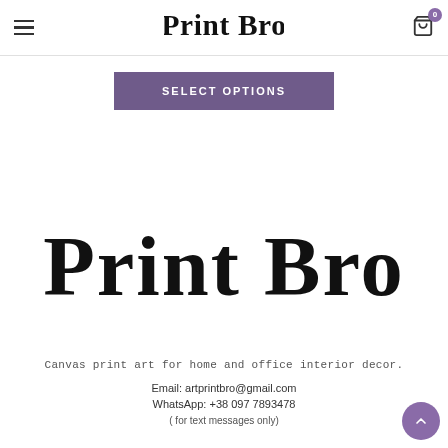Print Bro — navigation header with hamburger menu and cart icon (badge: 0)
[Figure (logo): Print Bro handwritten brush-script logo in header]
SELECT OPTIONS
[Figure (logo): Large Print Bro handwritten brush-script logo, centered on page]
Canvas print art for home and office interior decor.
Email: artprintbro@gmail.com
WhatsApp: +38 097 7893478
( for text messages only)